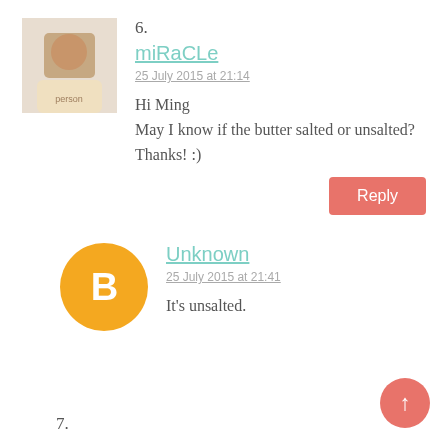6.
miRaCLe
25 July 2015 at 21:14
Hi Ming
May I know if the butter salted or unsalted? Thanks! :)
Reply
[Figure (logo): Blogger default avatar — orange circle with white B]
Unknown
25 July 2015 at 21:41
It's unsalted.
7.